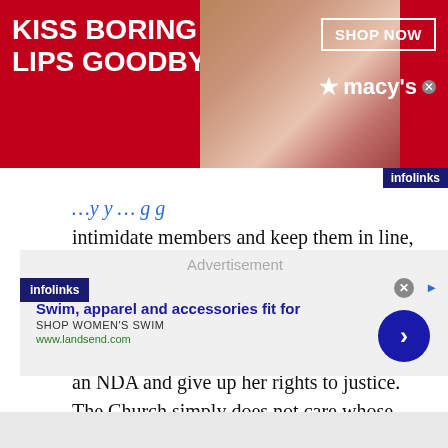[Figure (screenshot): Top advertisement banner: red background with 'KISS BORING LIPS GOODBYE' text, woman's face with red lips, SHOP NOW button, and Macy's logo with star]
intimidate members and keep them in line, as was done with each of Masterson’s victims. We can see from Jane Doe 1, for example, that social blackmail was the first go-to in order to get her compliance to sign an NDA and give up her rights to justice. The Church simply does not care whose rights have to be trampled so long as the precious public image of the church is not tarnished.
[Figure (screenshot): Bottom advertisement: infolinks badge, Lands' End ad with 'Swim, apparel and accessories fit for', 'SHOP WOMEN'S SWIM', 'www.landsend.com', blue circle arrow button, close X button]